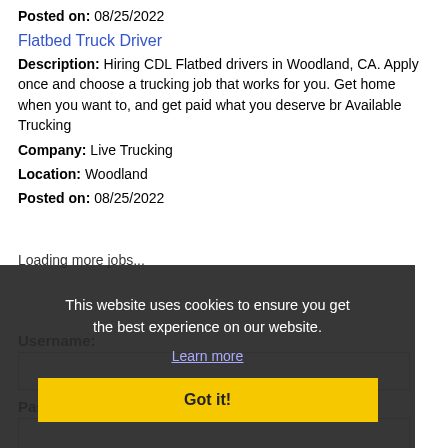Posted on: 08/25/2022
Flatbed Truck Driver
Description: Hiring CDL Flatbed drivers in Woodland, CA. Apply once and choose a trucking job that works for you. Get home when you want to, and get paid what you deserve br Available Trucking
Company: Live Trucking
Location: Woodland
Posted on: 08/25/2022
Loading more jobs...
This website uses cookies to ensure you get the best experience on our website. Learn more Got it!
Username:
Password: